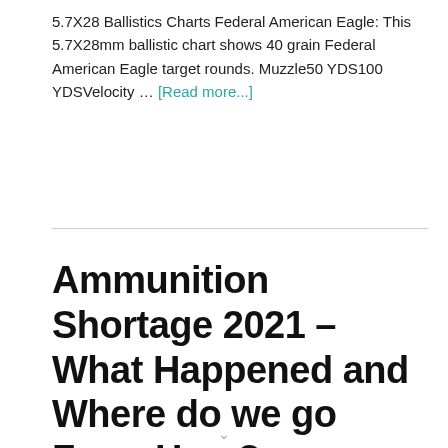5.7X28 Ballistics Charts Federal American Eagle: This 5.7X28mm ballistic chart shows 40 grain Federal American Eagle target rounds. Muzzle50 YDS100 YDSVelocity … [Read more...]
Ammunition Shortage 2021 – What Happened and Where do we go From Here?
January 23, 2021 by Josh